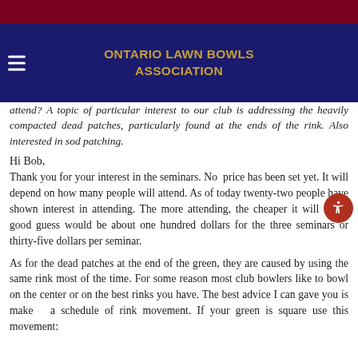ONTARIO LAWN BOWLS ASSOCIATION
Charles - most interested members. As greens chair, I will be attending provide an estimate of the costs, as other members of our club will likely wish to attend? A topic of particular interest to our club is addressing the heavily compacted dead patches, particularly found at the ends of the rink. Also interested in sod patching.
Hi Bob,
Thank you for your interest in the seminars. No price has been set yet. It will depend on how many people will attend. As of today twenty-two people have shown interest in attending. The more attending, the cheaper it will be. A good guess would be about one hundred dollars for the three seminars or thirty-five dollars per seminar.
As for the dead patches at the end of the green, they are caused by using the same rink most of the time. For some reason most club bowlers like to bowl on the center or on the best rinks you have. The best advice I can gave you is make a schedule of rink movement. If your green is square use this movement: